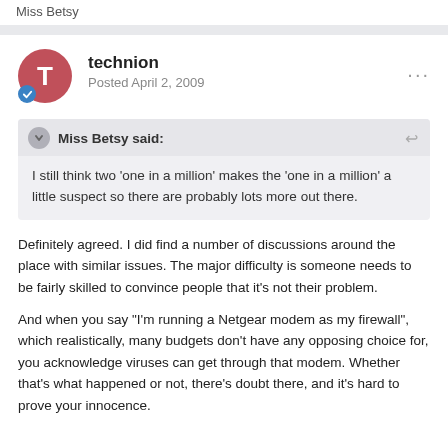Miss Betsy
technion
Posted April 2, 2009
Miss Betsy said:
I still think two 'one in a million' makes the 'one in a million' a little suspect so there are probably lots more out there.
Definitely agreed. I did find a number of discussions around the place with similar issues. The major difficulty is someone needs to be fairly skilled to convince people that it's not their problem.
And when you say "I'm running a Netgear modem as my firewall", which realistically, many budgets don't have any opposing choice for, you acknowledge viruses can get through that modem. Whether that's what happened or not, there's doubt there, and it's hard to prove your innocence.